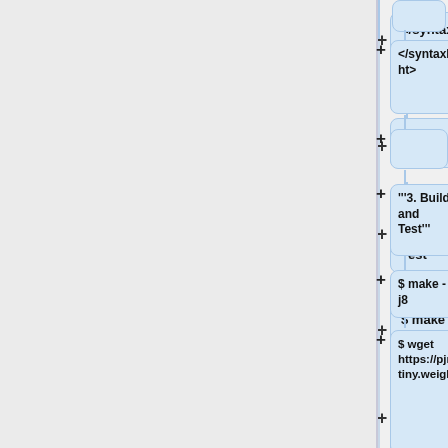[Figure (flowchart): A vertical flowchart with nodes and plus buttons. Nodes include: </syntaxhighlight>, (empty), '''3. Build and Test''', $ make -j8, $ wget https://pjreddie.com/media/files/yolov3-tiny.weights, $ ./darknet detector demo cfg/coco.data cfg/yolov3-tiny.cfg yolov3-tiny.weights [video]]